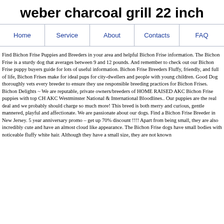weber charcoal grill 22 inch
Home | Service | About | Contacts | FAQ
Find Bichon Frise Puppies and Breeders in your area and helpful Bichon Frise information. The Bichon Frise is a sturdy dog that averages between 9 and 12 pounds. And remember to check out our Bichon Frise puppy buyers guide for lots of useful information. Bichon Frise Breeders Fluffy, friendly, and full of life, Bichon Frises make for ideal pups for city-dwellers and people with young children. Good Dog thoroughly vets every breeder to ensure they use responsible breeding practices for Bichon Frises. Bichon Delights ~ We are reputable, private owners/breeders of HOME RAISED AKC Bichon Frise puppies with top CH AKC Westminster National & International Bloodlines.. Our puppies are the real deal and we probably should charge so much more! This breed is both merry and curious, gentle mannered, playful and affectionate. We are passionate about our dogs. Find a Bichon Frise Breeder in New Jersey. 5 year anniversary promo – get up 70% discount !!!! Apart from being small, they are also incredibly cute and have an almost cloud like appearance. The Bichon Frise dogs have small bodies with noticeable fluffy white hair. Although they have a small size, they are not known as well-behaved dogs. From his introduction of an expression in onto